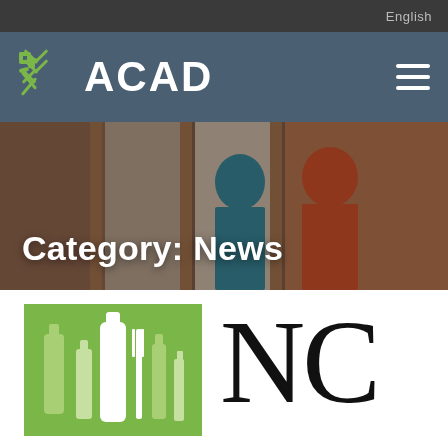English
ACAD
[Figure (logo): ACAD logo with green woven/cross pattern icon and ACAD text in white on steel blue background, with hamburger menu icon]
[Figure (photo): Hero banner photo showing two women from behind in colorful dresses, muted/dark overlay]
Category: News
[Figure (logo): Green square logo with silhouettes of bottles and a fork/utensils in lighter green and white]
[Figure (logo): Large black letters NC in serif font on white background]